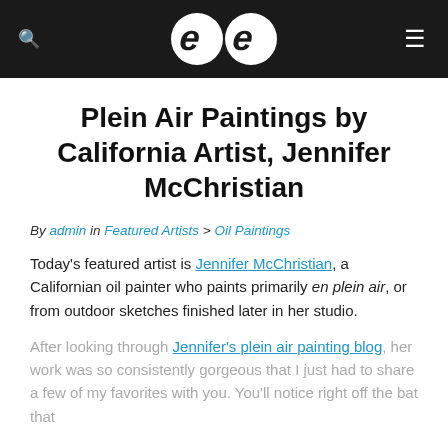ee (logo)
Plein Air Paintings by California Artist, Jennifer McChristian
By admin in Featured Artists > Oil Paintings
Today's featured artist is Jennifer McChristian, a Californian oil painter who paints primarily en plein air, or from outdoor sketches finished later in her studio.
After looking through Jennifer's plein air painting blog, her work was so consistently gorgeous that I just had to share a few of my favorites with you. You'll notice right off the bat that